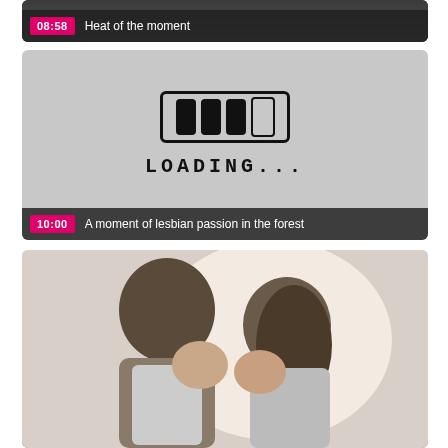[Figure (screenshot): Video thumbnail strip - dark background, top portion of first card]
08:58  Heat of the moment
[Figure (screenshot): Video thumbnail showing a loading screen with hand-drawn loading bar graphic on grey background]
10:00  A moment of lesbian passion in the forest
[Figure (photo): Video thumbnail showing a couple about to kiss, man with dark hair and woman with long dark hair, bright background]